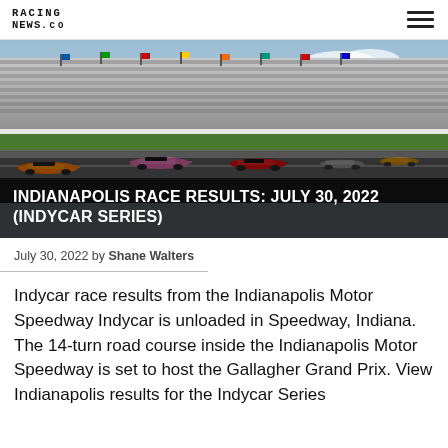RACING NEWS.CO
[Figure (photo): Racing cars on track at Indianapolis Motor Speedway with grandstands packed with spectators in the background. Multiple IndyCar vehicles are visible on the road course.]
INDIANAPOLIS RACE RESULTS: JULY 30, 2022 (INDYCAR SERIES)
July 30, 2022 by Shane Walters
Indycar race results from the Indianapolis Motor Speedway Indycar is unloaded in Speedway, Indiana. The 14-turn road course inside the Indianapolis Motor Speedway is set to host the Gallagher Grand Prix. View Indianapolis results for the Indycar Series